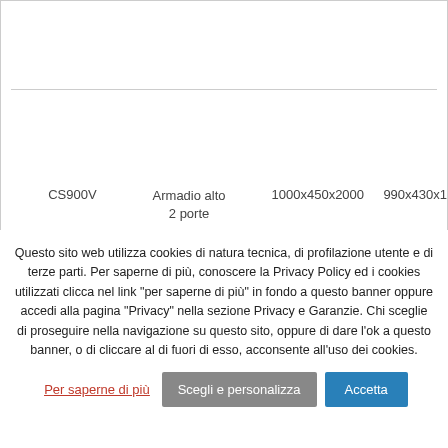| Code | Description | Dim1 | Dim2 |
| --- | --- | --- | --- |
| CS900V | Armadio alto
2 porte | 1000x450x2000 | 990x430x1 |
Questo sito web utilizza cookies di natura tecnica, di profilazione utente e di terze parti. Per saperne di più, conoscere la Privacy Policy ed i cookies utilizzati clicca nel link "per saperne di più" in fondo a questo banner oppure accedi alla pagina "Privacy" nella sezione Privacy e Garanzie. Chi sceglie di proseguire nella navigazione su questo sito, oppure di dare l'ok a questo banner, o di cliccare al di fuori di esso, acconsente all'uso dei cookies.
Per saperne di più | Scegli e personalizza | Accetta